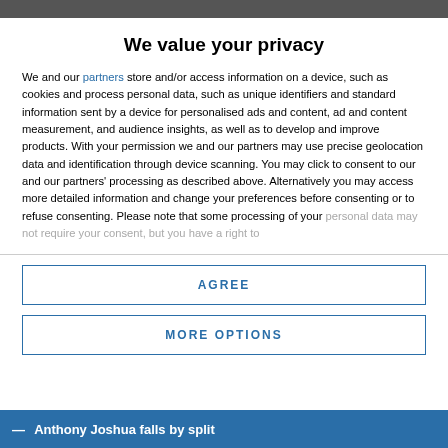We value your privacy
We and our partners store and/or access information on a device, such as cookies and process personal data, such as unique identifiers and standard information sent by a device for personalised ads and content, ad and content measurement, and audience insights, as well as to develop and improve products. With your permission we and our partners may use precise geolocation data and identification through device scanning. You may click to consent to our and our partners' processing as described above. Alternatively you may access more detailed information and change your preferences before consenting or to refuse consenting. Please note that some processing of your personal data may not require your consent, but you have a right to
AGREE
MORE OPTIONS
Anthony Joshua falls by split